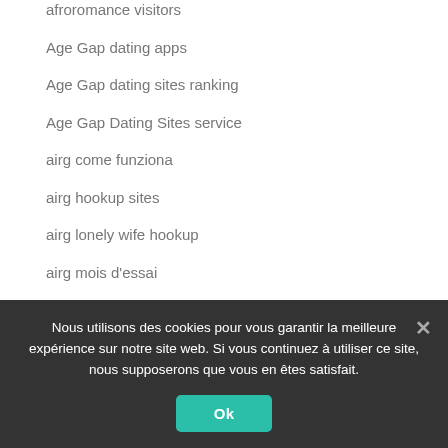afroromance visitors
Age Gap dating apps
Age Gap dating sites ranking
Age Gap Dating Sites service
airg come funziona
airg hookup sites
airg lonely wife hookup
airg mois d'essai
AirG review
aisle dating
aisle hookup sites
Nous utilisons des cookies pour vous garantir la meilleure expérience sur notre site web. Si vous continuez à utiliser ce site, nous supposerons que vous en êtes satisfait.
Ok